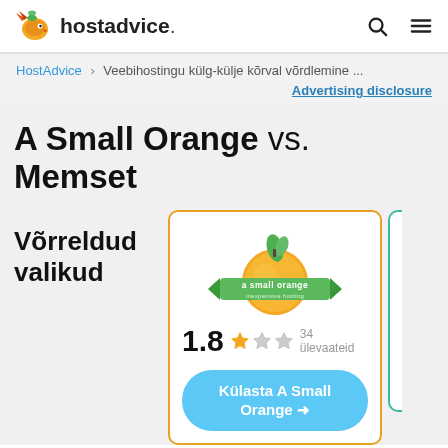hostadvice.
HostAdvice > Veebihostingu külg-külje kõrval võrdlemine ...
Advertising disclosure
A Small Orange vs. Memset
Võrreldud valikud
[Figure (logo): A Small Orange logo - orange fruit with green leaf and green banner reading 'a small orange inexpensive hosting']
1.8  34 ülevaateid
Külasta A Small Orange →